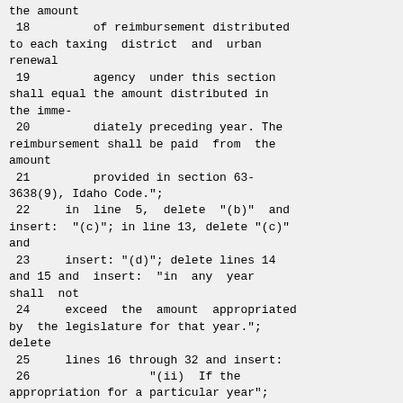the amount
 18         of reimbursement distributed to each taxing  district  and  urban renewal
 19         agency  under this section shall equal the amount distributed in the imme-
 20         diately preceding year. The reimbursement shall be paid  from  the amount
 21         provided in section 63-3638(9), Idaho Code.";
 22     in  line  5,  delete  "(b)"  and insert:  "(c)"; in line 13, delete "(c)" and
 23     insert: "(d)"; delete lines 14 and 15 and  insert:  "in  any  year  shall  not
 24     exceed  the  amount  appropriated by  the legislature for that year."; delete
 25     lines 16 through 32 and insert:
 26                 "(ii)  If the appropriation for a particular year";
 27     and delete lines 37 through 39